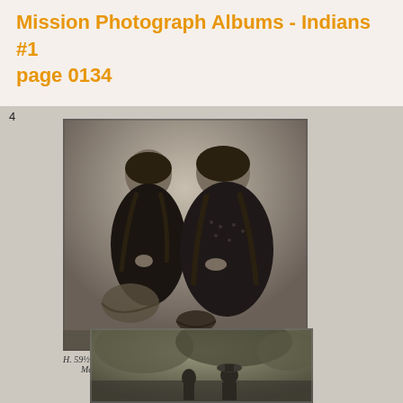Mission Photograph Albums - Indians #1
page 0134
[Figure (photo): Black and white photograph of two Native American women seated and working on basket weaving, with baskets visible around them. Handwritten caption below reads: H. 59½ Indian Basket Maker]
[Figure (photo): Partial black and white photograph at the bottom of the page showing people outdoors among trees/foliage.]